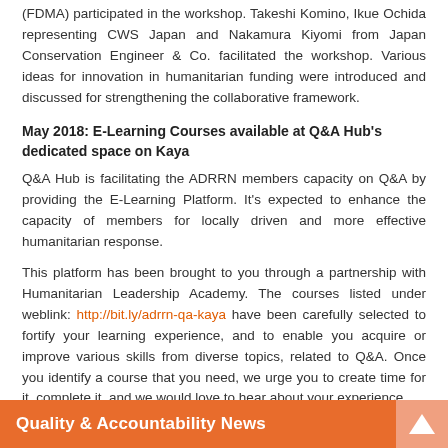(FDMA) participated in the workshop. Takeshi Komino, Ikue Ochida representing CWS Japan and Nakamura Kiyomi from Japan Conservation Engineer & Co. facilitated the workshop. Various ideas for innovation in humanitarian funding were introduced and discussed for strengthening the collaborative framework.
May 2018: E-Learning Courses available at Q&A Hub's dedicated space on Kaya
Q&A Hub is facilitating the ADRRN members capacity on Q&A by providing the E-Learning Platform. It's expected to enhance the capacity of members for locally driven and more effective humanitarian response.
This platform has been brought to you through a partnership with Humanitarian Leadership Academy. The courses listed under weblink: http://bit.ly/adrrn-qa-kaya have been carefully selected to fortify your learning experience, and to enable you acquire or improve various skills from diverse topics, related to Q&A. Once you identify a course that you need, we urge you to create time for it, complete it, and we would love to hear about your experience.
Quality & Accountability News